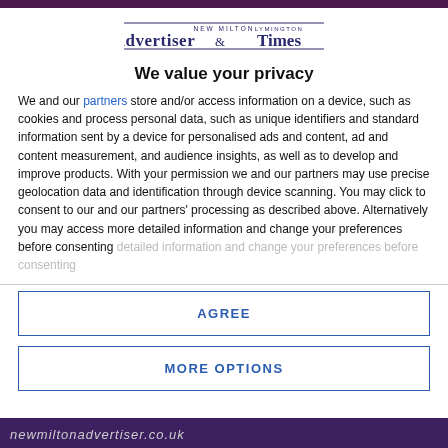[Figure (logo): New Milton Advertiser & Lymington Times newspaper logo]
We value your privacy
We and our partners store and/or access information on a device, such as cookies and process personal data, such as unique identifiers and standard information sent by a device for personalised ads and content, ad and content measurement, and audience insights, as well as to develop and improve products. With your permission we and our partners may use precise geolocation data and identification through device scanning. You may click to consent to our and our partners' processing as described above. Alternatively you may access more detailed information and change your preferences before consenting
AGREE
MORE OPTIONS